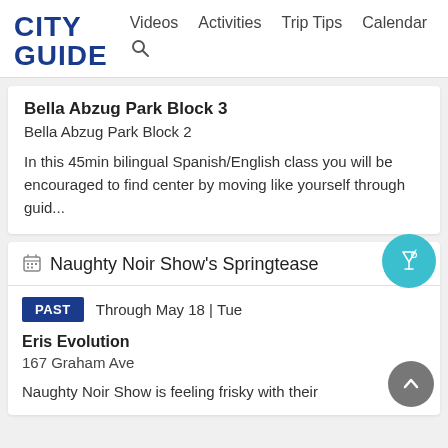CITY GUIDE — Videos  Activities  Trip Tips  Calendar
Bella Abzug Park Block 3
Bella Abzug Park Block 2
In this 45min bilingual Spanish/English class you will be encouraged to find center by moving like yourself through guid...
Naughty Noir Show's Springtease
PAST  Through May 18 | Tue
Eris Evolution
167 Graham Ave
Naughty Noir Show is feeling frisky with their